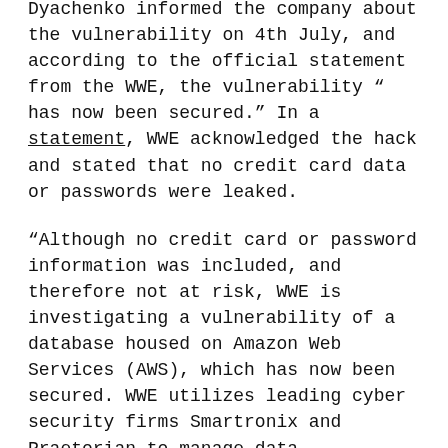Dyachenko informed the company about the vulnerability on 4th July, and according to the official statement from the WWE, the vulnerability “ has now been secured.” In a statement, WWE acknowledged the hack and stated that no credit card data or passwords were leaked.
“Although no credit card or password information was included, and therefore not at risk, WWE is investigating a vulnerability of a database housed on Amazon Web Services (AWS), which has now been secured. WWE utilizes leading cyber security firms Smartronix and Praetorian to manage data infrastructure and cyber security and to conduct regular security audits on AWS.  We are currently working with Amazon Web Services, Smartronix, and Praetorian to ensure the ongoing security of our customer information,” said the statement.